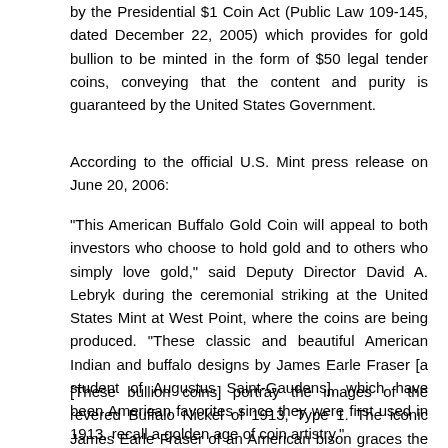by the Presidential $1 Coin Act (Public Law 109-145, dated December 22, 2005) which provides for gold bullion to be minted in the form of $50 legal tender coins, conveying that the content and purity is guaranteed by the United States Government.
According to the official U.S. Mint press release on June 20, 2006:
"This American Buffalo Gold Coin will appeal to both investors who choose to hold gold and to others who simply love gold," said Deputy Director David A. Lebryk during the ceremonial striking at the United States Mint at West Point, where the coins are being produced. "These classic and beautiful American Indian and buffalo designs by James Earle Fraser [a student of Augustus Saint-Gaudens], which have been American favorites since they were first used in 1913, recall a golden age of coin artistry."
[These bullion coins] portray the images of the revered Buffalo Nickel of 1913, Type 1. The iconic James Earle Fraser of an American bison graces the reverse (tails side Fraser's classic design of an American Indian is featur the obverse (heads side). The American Buffalo Gold Coin